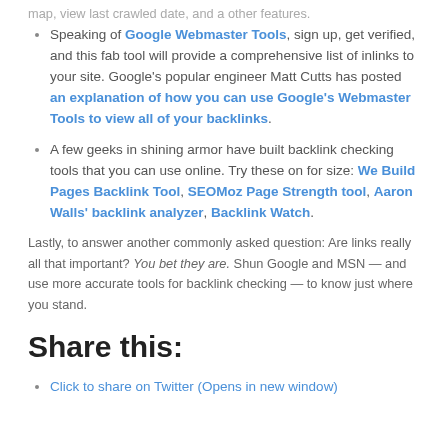Speaking of Google Webmaster Tools, sign up, get verified, and this fab tool will provide a comprehensive list of inlinks to your site. Google's popular engineer Matt Cutts has posted an explanation of how you can use Google's Webmaster Tools to view all of your backlinks.
A few geeks in shining armor have built backlink checking tools that you can use online. Try these on for size: We Build Pages Backlink Tool, SEOMoz Page Strength tool, Aaron Walls' backlink analyzer, Backlink Watch.
Lastly, to answer another commonly asked question: Are links really all that important? You bet they are. Shun Google and MSN — and use more accurate tools for backlink checking — to know just where you stand.
Share this:
Click to share on Twitter (Opens in new window)